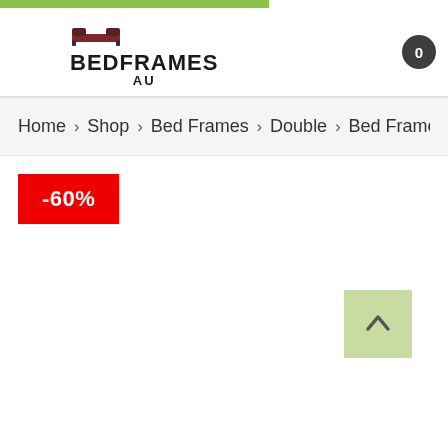[Figure (logo): Bedframes AU logo with bed icon and bold text]
0
Home > Shop > Bed Frames > Double > Bed Frame White Fa
-60%